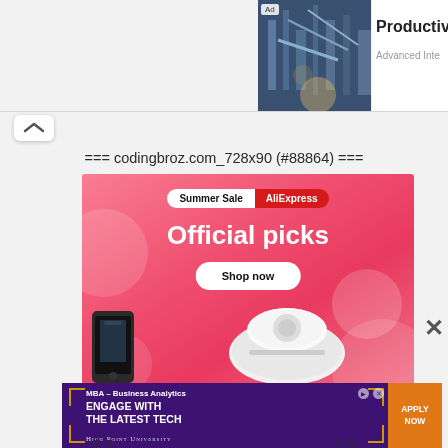[Figure (screenshot): Partial view of an ad: industrial/manufacturing photo with 'Ad' label, and text 'Productivity' and 'Advanced Inte...' to the right]
[Figure (screenshot): Chevron/collapse button (^) in a white rounded rectangle]
=== codingbroz.com_728x90 (#88864) ===
[Figure (screenshot): AliExpress Summer Sale banner ad with pink background, 'Summer Sale AliExpress' pill, 'Official picks' heading, 'Shop now' button, robot vacuum product image]
[Figure (screenshot): X close button]
[Figure (screenshot): MBA – Business Analytics ad: 'ENGAGE WITH THE LATEST TECH', 'APPLY NOW' orange button, High Point University logo on purple background]